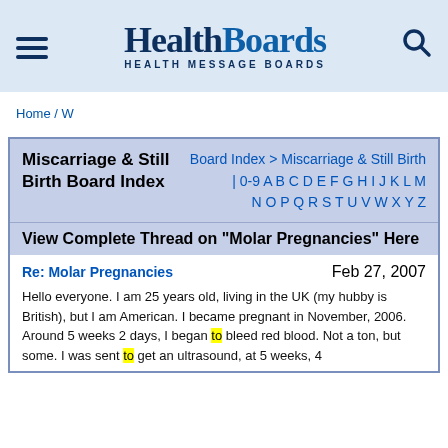HealthBoards — HEALTH MESSAGE BOARDS
Home / W
Miscarriage & Still Birth Board Index
Board Index > Miscarriage & Still Birth | 0-9 A B C D E F G H I J K L M N O P Q R S T U V W X Y Z
View Complete Thread on "Molar Pregnancies" Here
Re: Molar Pregnancies
Feb 27, 2007
Hello everyone. I am 25 years old, living in the UK (my hubby is British), but I am American. I became pregnant in November, 2006. Around 5 weeks 2 days, I began to bleed red blood. Not a ton, but some. I was sent to get an ultrasound, at 5 weeks, 4 days. They established that there was a pregnancy but it didn't measure as expected.